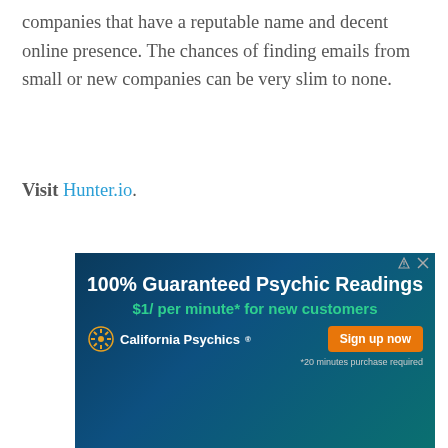companies that have a reputable name and decent online presence. The chances of finding emails from small or new companies can be very slim to none.
Visit Hunter.io.
[Figure (other): Advertisement banner for California Psychics: '100% Guaranteed Psychic Readings $1/ per minute* for new customers' with a 'Sign up now' button and '*20 minutes purchase required' disclaimer.]